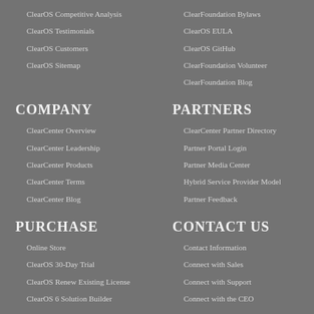ClearOS Competitive Analysis
ClearFoundation Bylaws
ClearOS Testimonials
ClearOS EULA
ClearOS Customers
ClearOS GitHub
ClearOS Sitemap
ClearFoundation Volunteer
ClearFoundation Blog
COMPANY
PARTNERS
ClearCenter Overview
ClearCenter Partner Directory
ClearCenter Leadership
Partner Portal Login
ClearCenter Products
Partner Media Center
ClearCenter Terms
Hybrid Service Provider Model
ClearCenter Blog
Partner Feedback
PURCHASE
CONTACT US
Online Store
Contact Information
ClearOS 30-Day Trial
Connect with Sales
ClearOS Renew Existing License
Connect with Support
ClearOS 6 Solution Builder
Connect with the CEO